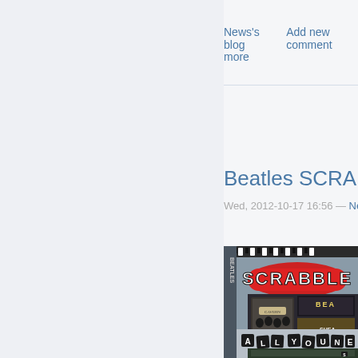News's blog    Add new comment
more
Beatles SCRABBLE Bo
Wed, 2012-10-17 16:56 — News
[Figure (photo): Beatles SCRABBLE board game box showing the SCRABBLE logo in red, Beatles imagery, and scrabble tiles spelling ALL YOU NEE at the bottom]